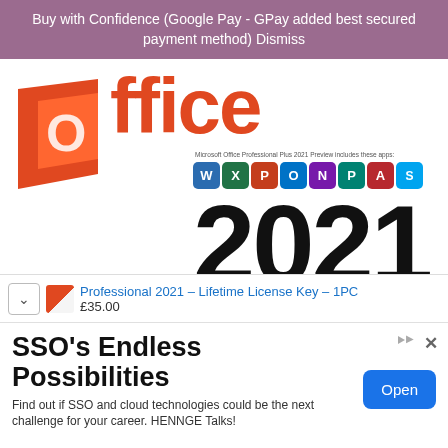Buy with Confidence (Google Pay - GPay added best secured payment method) Dismiss
[Figure (screenshot): Microsoft Office Professional Plus 2021 product image showing the Office logo, app icons (Word, Excel, PowerPoint, Outlook, OneNote, Publisher, Access, Skype), and large '2021' text]
Professional 2021 – Lifetime License Key – 1PC
£35.00
SSO's Endless Possibilities
Find out if SSO and cloud technologies could be the next challenge for your career. HENNGE Talks!